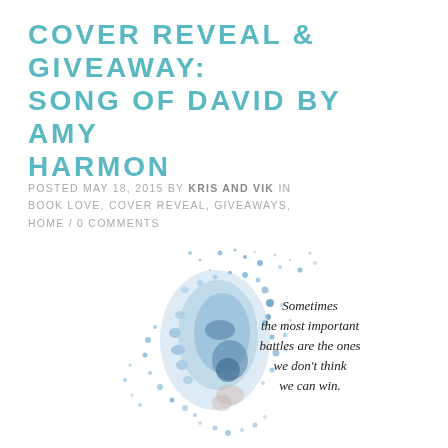COVER REVEAL & GIVEAWAY: SONG OF DAVID BY AMY HARMON
POSTED MAY 18, 2015 BY KRIS AND VIK IN BOOK LOVE, COVER REVEAL, GIVEAWAYS, HOME / 0 COMMENTS
[Figure (illustration): Book cover art for 'Song of David' by Amy Harmon showing a face dissolving into blue particles/watercolor splatter effect, with italic quote text: 'Sometimes the most important battles are the ones we don't think we can win.']